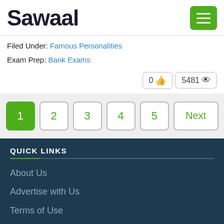Sawaal
Filed Under: Famous Personalities
Exam Prep: Bank Exams
0 👍  5481 👁
1  2  3  4  5  Next
QUICK LINKS
About Us
Advertise with Us
Terms of Use
Privacy Policy
Contact Us
Blog